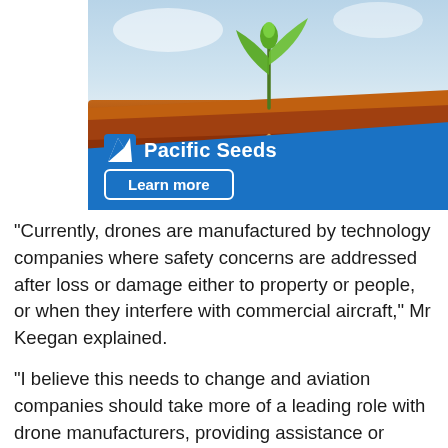[Figure (illustration): Pacific Seeds advertisement showing a seedling growing from soil with roots visible below ground. Blue diagonal panel at bottom with Pacific Seeds logo (white leaf/chevron icon) and 'Learn more' button with white border.]
“Currently, drones are manufactured by technology companies where safety concerns are addressed after loss or damage either to property or people, or when they interfere with commercial aircraft,” Mr Keegan explained.
“I believe this needs to change and aviation companies should take more of a leading role with drone manufacturers, providing assistance or lessons learned.